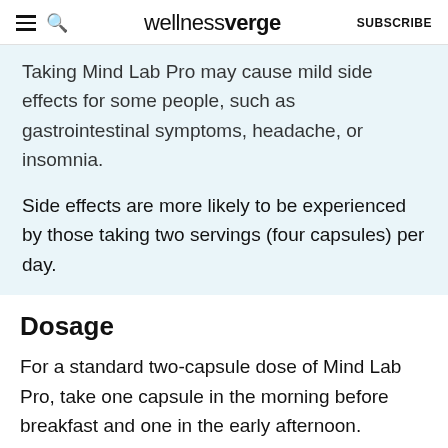wellnessverge | SUBSCRIBE
Taking Mind Lab Pro may cause mild side effects for some people, such as gastrointestinal symptoms, headache, or insomnia.

Side effects are more likely to be experienced by those taking two servings (four capsules) per day.
Dosage
For a standard two-capsule dose of Mind Lab Pro, take one capsule in the morning before breakfast and one in the early afternoon.